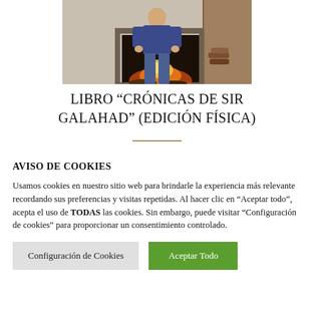[Figure (photo): Person in a blue sweater and jeans standing in front of a stone fireplace with a fire burning, inside a room.]
LIBRO “CRÓNICAS DE SIR GALAHAD” (EDICIÓN FÍSICA)
AVISO DE COOKIES
Usamos cookies en nuestro sitio web para brindarle la experiencia más relevante recordando sus preferencias y visitas repetidas. Al hacer clic en "Aceptar todo", acepta el uso de TODAS las cookies. Sin embargo, puede visitar "Configuración de cookies" para proporcionar un consentimiento controlado.